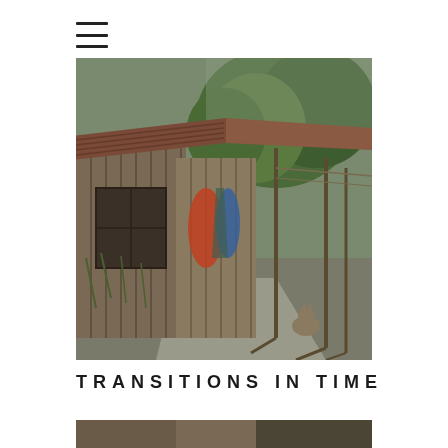[Figure (other): Hamburger menu icon — three horizontal lines]
[Figure (photo): Photograph of an old rural building with corrugated iron roof, weathered wooden planks, clothesline with hanging garments, surrounding vegetation and a cat in the foreground on a concrete path]
TRANSITIONS IN TIME
[Figure (photo): Bottom portion of a second photograph partially visible at the very bottom of the page]